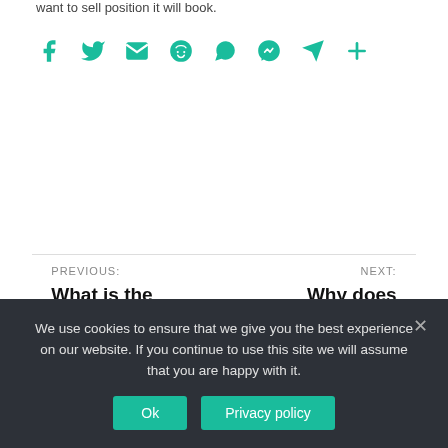want to sell position it will book.
[Figure (infographic): Social sharing icons in teal: Facebook, Twitter, Email, Reddit, WhatsApp, Messenger, Telegram, Share (plus)]
PREVIOUS: What is the importance of saving money?
NEXT: Why does Michigan have word limits on essays?
We use cookies to ensure that we give you the best experience on our website. If you continue to use this site we will assume that you are happy with it.
Ok
Privacy policy